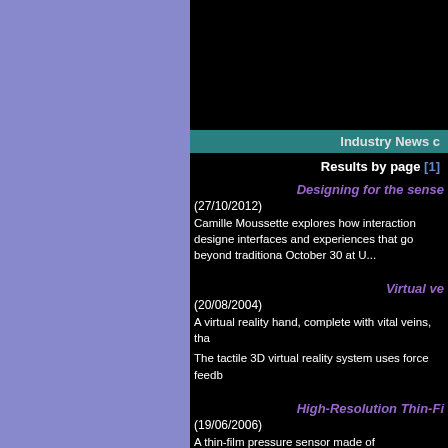Industry News c
Results by page [1]
Designing for the sense
(27/10/2012)
Camille Moussette explores how interaction designe interfaces and experiences that go beyond traditiona October 30 at U...
Virtual ve
(20/08/2004)
A virtual reality hand, complete with vital veins, tha
The tactile 3D virtual reality system uses force feedb
High-Resolution Thin-Fi
(19/06/2006)
A thin-film pressure sensor made of semiconducting felt by the human fingertip, an order of magnitude o
This will initially b...